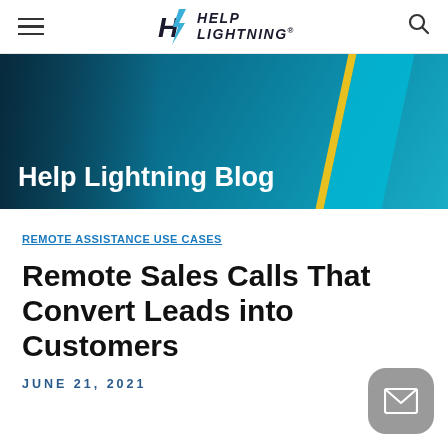Help Lightning (navigation bar with hamburger menu, logo, and search icon)
[Figure (photo): Hero banner image showing a person working at a computer with blog overlay text 'Help Lightning Blog' and teal/yellow diagonal accents]
Help Lightning Blog
REMOTE ASSISTANCE USE CASES
Remote Sales Calls That Convert Leads into Customers
JUNE 21, 2021
[Figure (other): Email contact button (gray rounded square with envelope icon) in bottom right corner]